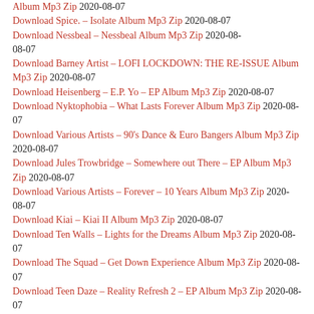Album Mp3 Zip 2020-08-07
Download Spice. – Isolate Album Mp3 Zip 2020-08-07
Download Nessbeal – Nessbeal Album Mp3 Zip 2020-08-07
Download Barney Artist – LOFI LOCKDOWN: THE RE-ISSUE Album Mp3 Zip 2020-08-07
Download Heisenberg – E.P. Yo – EP Album Mp3 Zip 2020-08-07
Download Nyktophobia – What Lasts Forever Album Mp3 Zip 2020-08-07
Download Various Artists – 90's Dance & Euro Bangers Album Mp3 Zip 2020-08-07
Download Jules Trowbridge – Somewhere out There – EP Album Mp3 Zip 2020-08-07
Download Various Artists – Forever – 10 Years Album Mp3 Zip 2020-08-07
Download Kiai – Kiai II Album Mp3 Zip 2020-08-07
Download Ten Walls – Lights for the Dreams Album Mp3 Zip 2020-08-07
Download The Squad – Get Down Experience Album Mp3 Zip 2020-08-07
Download Teen Daze – Reality Refresh 2 – EP Album Mp3 Zip 2020-08-07
Download M A R I🔴🔴🔴🔴 – Arigatou – EP Album Mp3 Zip 2020-08-07